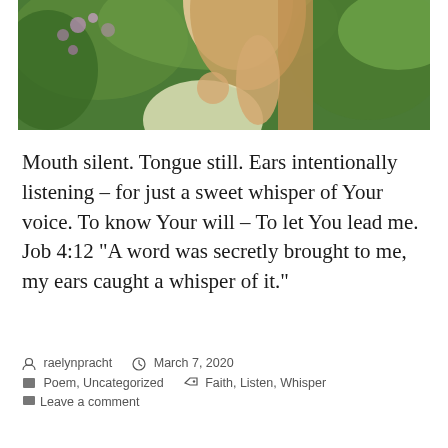[Figure (photo): Photo of a young woman with long hair near flowering trees and green foliage, shot from below/mid angle against lush background with purple flowers]
Mouth silent. Tongue still. Ears intentionally listening – for just a sweet whisper of Your voice. To know Your will – To let You lead me. Job 4:12 “A word was secretly brought to me, my ears caught a whisper of it.”
raelynpracht   March 7, 2020   Poem, Uncategorized   Faith, Listen, Whisper   Leave a comment